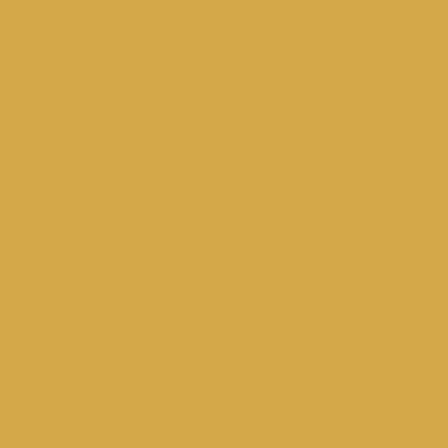CMS [word] found the excerpts:
“The software authoring (an tools designed users with knowledge programming languages or ease.
Most systems might be need stored as XML [2]
A CMS improv and feel” of yo and page arc pasting conte CMS will